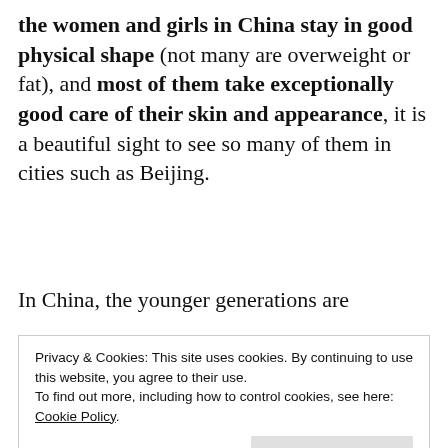the women and girls in China stay in good physical shape (not many are overweight or fat), and most of them take exceptionally good care of their skin and appearance, it is a beautiful sight to see so many of them in cities such as Beijing.
In China, the younger generations are
Privacy & Cookies: This site uses cookies. By continuing to use this website, you agree to their use.
To find out more, including how to control cookies, see here: Cookie Policy
Close and accept